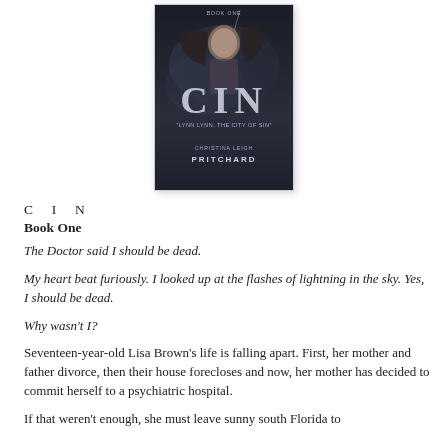[Figure (illustration): Book cover for 'CIN Book One' by Christina Leigh Pritchard, featuring a woman with flowing hair against a dark stormy background with lightning, large letters C I N in center, subtitle 'Lynn Lynn, The City of Sin']
C I N
Book One
The Doctor said I should be dead.

My heart beat furiously. I looked up at the flashes of lightning in the sky. Yes, I should be dead.

Why wasn't I?

Seventeen-year-old Lisa Brown's life is falling apart. First, her mother and father divorce, then their house forecloses and now, her mother has decided to commit herself to a psychiatric hospital.

If that weren't enough, she must leave sunny south Florida to